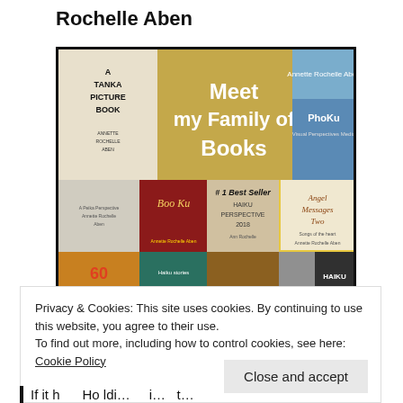Rochelle Aben
[Figure (illustration): Collage image titled 'Meet my Family of Books' showing multiple book covers by Annette Rochelle Aben including A Tanka Picture Book, PhoKu, Angel Messages Two, Haiku Perspective, and others. A '#1 Best Seller' banner is visible.]
Privacy & Cookies: This site uses cookies. By continuing to use this website, you agree to their use.
To find out more, including how to control cookies, see here:
Cookie Policy
Close and accept
If it h...  Ho ldi...  i...  t...